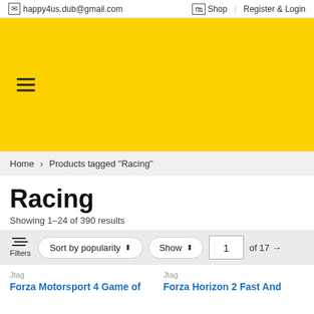happy4us.dub@gmail.com  Shop  Register & Login
[Figure (other): Yellow banner with hamburger menu icon]
Home > Products tagged "Racing"
Racing
Showing 1–24 of 390 results
Filters  Sort by popularity ⬍  Show ⬍  1 of 17 →
Jtag
Forza Motorsport 4 Game of
Jtag
Forza Horizon 2 Fast And